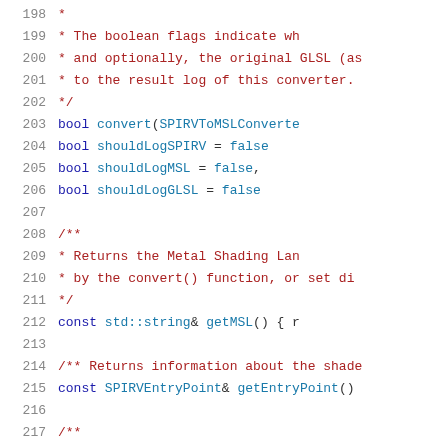[Figure (screenshot): Source code viewer showing lines 198-218 of a C++ header file with SPIRV-to-MSL converter code. Line numbers on the left in gray, comments in dark red, keywords and identifiers in blue.]